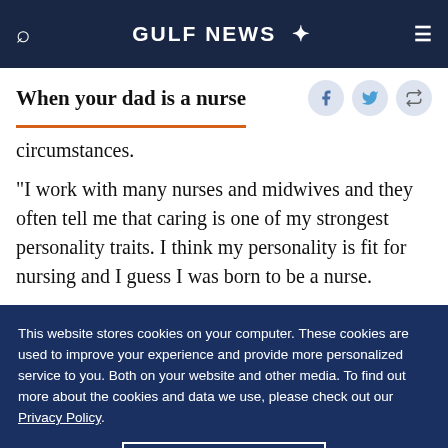GULF NEWS
When your dad is a nurse
circumstances.
“I work with many nurses and midwives and they often tell me that caring is one of my strongest personality traits. I think my personality is fit for nursing and I guess I was born to be a nurse.
This website stores cookies on your computer. These cookies are used to improve your experience and provide more personalized service to you. Both on your website and other media. To find out more about the cookies and data we use, please check out our Privacy Policy.